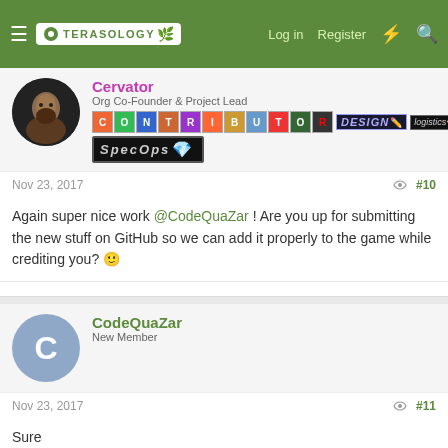Terasology | Log in | Register
Cervator
Org Co-Founder & Project Lead
[Figure (illustration): Contributor, Design, Logistics, SpecOps badge icons row]
Nov 23, 2017  #10
Again super nice work @CodeQuaZar ! Are you up for submitting the new stuff on GitHub so we can add it properly to the game while crediting you? 🙂
CodeQuaZar
New Member
Nov 23, 2017  #11
Sure